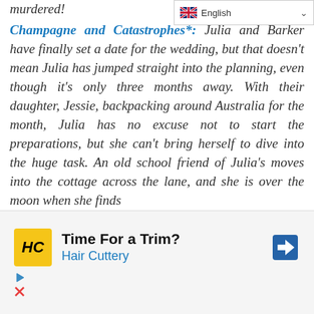murdered!
[Figure (other): Language selector dropdown showing UK flag and 'English' with a chevron]
Champagne and Catastrophes*: Julia and Barker have finally set a date for the wedding, but that doesn't mean Julia has jumped straight into the planning, even though it's only three months away. With their daughter, Jessie, backpacking around Australia for the month, Julia has no excuse not to start the preparations, but she can't bring herself to dive into the huge task. An old school friend of Julia's moves into the cottage across the lane, and she is over the moon when she finds
[Figure (other): Advertisement banner for Hair Cuttery: 'Time For a Trim?' with HC logo and navigation arrow icon, plus ad control icons]